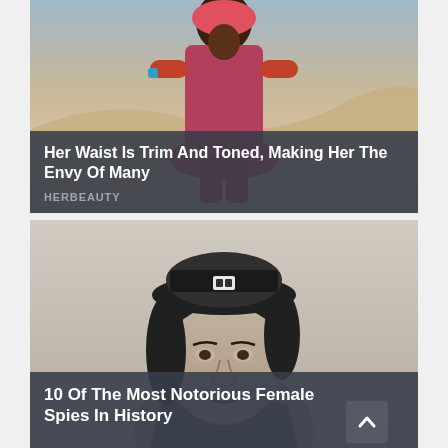[Figure (photo): Colorful card showing a woman in bright red and multicolor patterned outfit standing in a desert/sandy landscape with hands on hips, with overlay text 'Her Waist Is Trim And Toned, Making Her The Envy Of Many' and source label 'HERBEAUTY']
[Figure (photo): Black and white card showing a woman wearing a military-style cap with an insignia, smiling, portrait style photo, with overlay text '10 Of The Most Notorious Female Spies In History']